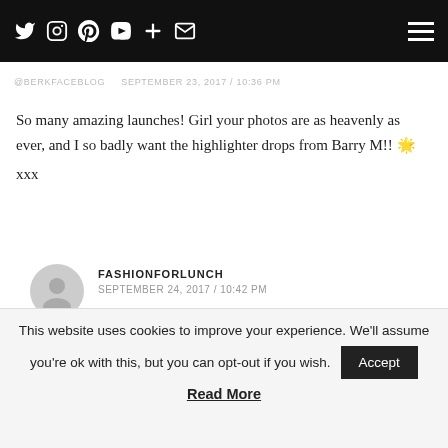Twitter Instagram Pinterest YouTube + Email [nav icons] | Hamburger menu
@BERKFACEBLOG
SEPTEMBER 23, 2017 / 10:36 PM
So many amazing launches! Girl your photos are as heavenly as ever, and I so badly want the highlighter drops from Barry M!! 🌟
xxx
FASHIONFORLUNCH
SEPTEMBER 24, 2017 / 10:42 PM
Ah you are so so kind! Thank you sweetie xxx
This website uses cookies to improve your experience. We'll assume you're ok with this, but you can opt-out if you wish. Accept
Read More